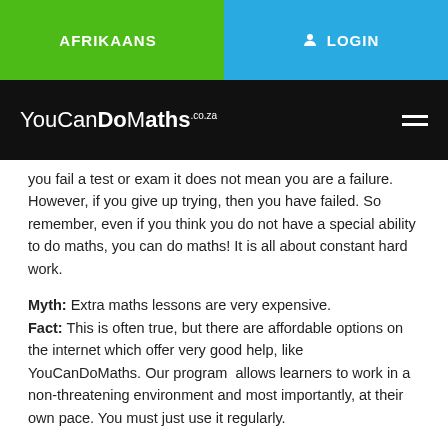[Figure (screenshot): Navigation bar with AFRIKAANS (green button) and LOGIN (blue button) on grey background]
[Figure (logo): YouCanDoMaths.co.za logo on black navigation bar with hamburger menu icon]
you fail a test or exam it does not mean you are a failure. However, if you give up trying, then you have failed. So remember, even if you think you do not have a special ability to do maths, you can do maths! It is all about constant hard work.
Myth: Extra maths lessons are very expensive. Fact: This is often true, but there are affordable options on the internet which offer very good help, like YouCanDoMaths. Our program allows learners to work in a non-threatening environment and most importantly, at their own pace. You must just use it regularly.